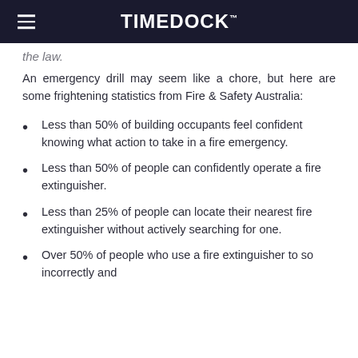TIMEDOCK
the law.
An emergency drill may seem like a chore, but here are some frightening statistics from Fire & Safety Australia:
Less than 50% of building occupants feel confident knowing what action to take in a fire emergency.
Less than 50% of people can confidently operate a fire extinguisher.
Less than 25% of people can locate their nearest fire extinguisher without actively searching for one.
Over 50% of people who use a fire extinguisher to so incorrectly and